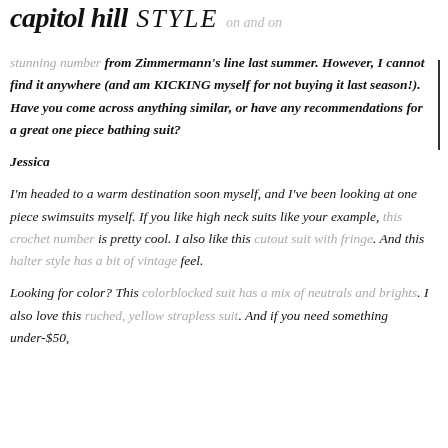capitol hill STYLE on and on
stunning number from Zimmermann's line last summer. However, I cannot find it anywhere (and am KICKING myself for not buying it last season!). Have you come across anything similar, or have any recommendations for a great one piece bathing suit?

Jessica

I'm headed to a warm destination soon myself, and I've been looking at one piece swimsuits myself. If you like high neck suits like your example, this crochet number is pretty cool. I also like this cutout suit with fringe. And this halter style has a bit of vintage feel.

Looking for color? This colorblocked suit has a mix of neutrals and brights. I also love this ruched, yellow strapless suit. And if you need something under-$50,